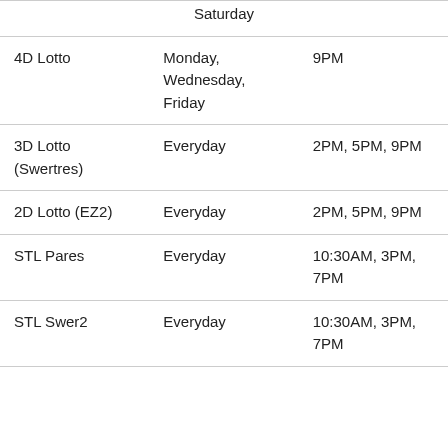|  | Saturday |  |
| --- | --- | --- |
| 4D Lotto | Monday, Wednesday, Friday | 9PM |
| 3D Lotto (Swertres) | Everyday | 2PM, 5PM, 9PM |
| 2D Lotto (EZ2) | Everyday | 2PM, 5PM, 9PM |
| STL Pares | Everyday | 10:30AM, 3PM, 7PM |
| STL Swer2 | Everyday | 10:30AM, 3PM, 7PM |